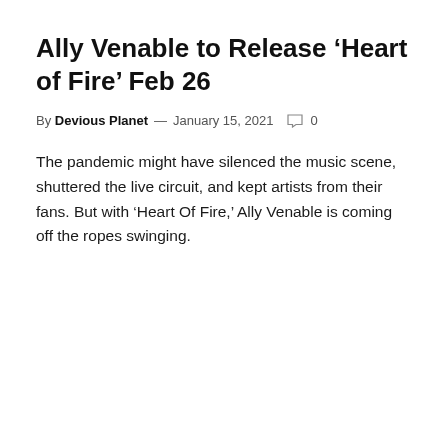Ally Venable to Release ‘Heart of Fire’ Feb 26
By Devious Planet — January 15, 2021  ○ 0
The pandemic might have silenced the music scene, shuttered the live circuit, and kept artists from their fans. But with ‘Heart Of Fire,’ Ally Venable is coming off the ropes swinging.